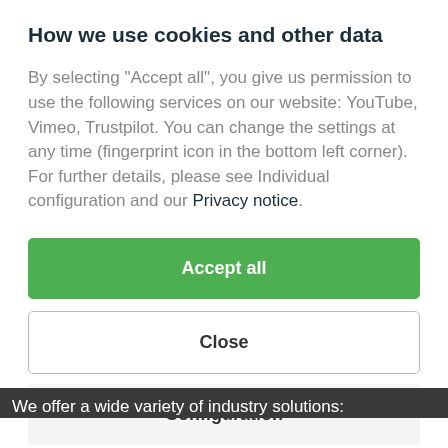How we use cookies and other data
By selecting "Accept all", you give us permission to use the following services on our website: YouTube, Vimeo, Trustpilot. You can change the settings at any time (fingerprint icon in the bottom left corner). For further details, please see Individual configuration and our Privacy notice.
Accept all
Close
Configuration
We offer a wide variety of industry solutions: Logistics & Construction, Thermal Services